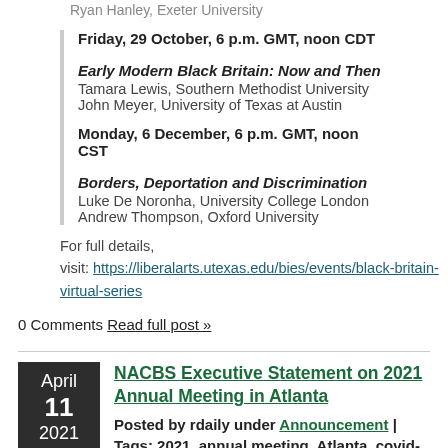Ryan Hanley, Exeter University
Friday, 29 October, 6 p.m. GMT, noon CDT
Early Modern Black Britain: Now and Then
Tamara Lewis, Southern Methodist University
John Meyer, University of Texas at Austin
Monday, 6 December, 6 p.m. GMT, noon CST
Borders, Deportation and Discrimination
Luke De Noronha, University College London
Andrew Thompson, Oxford University
For full details, visit: https://liberalarts.utexas.edu/bies/events/black-britain-virtual-series
0 Comments Read full post »
April 11 2021
NACBS Executive Statement on 2021 Annual Meeting in Atlanta
Posted by rdaily under Announcement | Tags: 2021, annual meeting, Atlanta, covid-